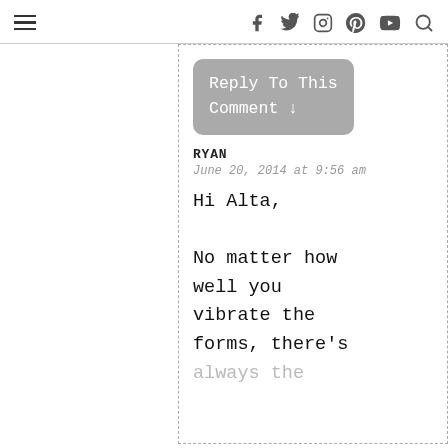≡  f  Twitter  Instagram  Pinterest  YouTube  Search
[Figure (screenshot): Reply To This Comment button (grey rounded rectangle with white monospace text)]
RYAN
June 20, 2014 at 9:56 am
Hi Alta,

No matter how well you vibrate the forms, there's always the possibility